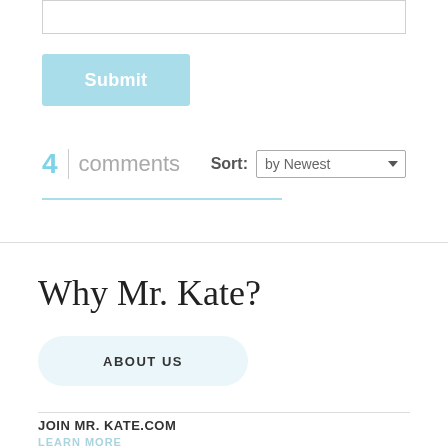[Figure (screenshot): Top portion of a text input field]
Submit
4 comments   Sort: by Newest
Why Mr. Kate?
ABOUT US
JOIN MR. KATE.COM
LEARN MORE